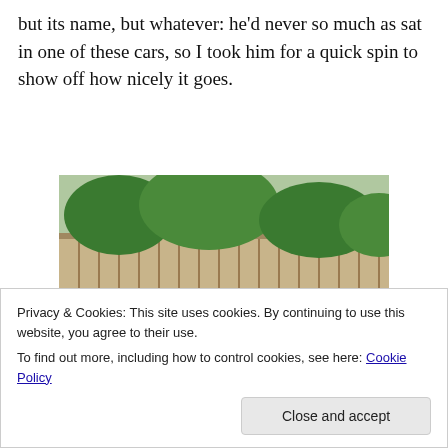but its name, but whatever: he'd never so much as sat in one of these cars, so I took him for a quick spin to show off how nicely it goes.
[Figure (photo): A dark grey MINI Cooper convertible photographed from the rear three-quarter angle in a parking lot, with trees and a wooden fence in the background.]
Privacy & Cookies: This site uses cookies. By continuing to use this website, you agree to their use.
To find out more, including how to control cookies, see here: Cookie Policy